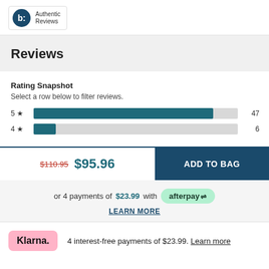[Figure (logo): Bazaarvoice Authentic Reviews logo with blue circle containing 'b:' and text 'Authentic Reviews']
Reviews
Rating Snapshot
Select a row below to filter reviews.
[Figure (bar-chart): Rating Snapshot]
$110.95  $95.96   ADD TO BAG
or 4 payments of $23.99 with afterpay   LEARN MORE
4 interest-free payments of $23.99. Learn more